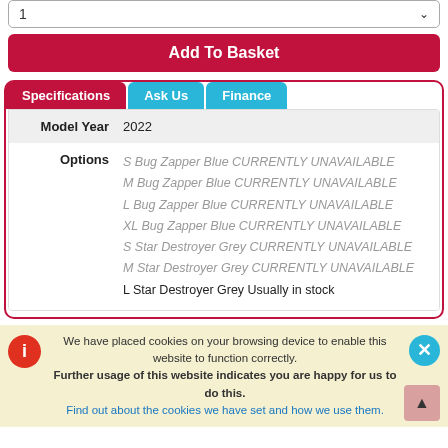1
Add To Basket
Specifications
Ask Us
Finance
| Label | Value |
| --- | --- |
| Model Year | 2022 |
| Options | S Bug Zapper Blue CURRENTLY UNAVAILABLE
M Bug Zapper Blue CURRENTLY UNAVAILABLE
L Bug Zapper Blue CURRENTLY UNAVAILABLE
XL Bug Zapper Blue CURRENTLY UNAVAILABLE
S Star Destroyer Grey CURRENTLY UNAVAILABLE
M Star Destroyer Grey CURRENTLY UNAVAILABLE
L Star Destroyer Grey Usually in stock |
We have placed cookies on your browsing device to enable this website to function correctly.
Further usage of this website indicates you are happy for us to do this.
Find out about the cookies we have set and how we use them.